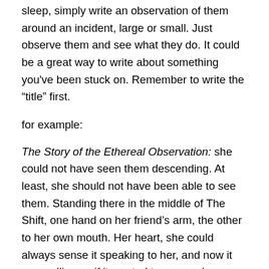sleep, simply write an observation of them around an incident, large or small. Just observe them and see what they do. It could be a great way to write about something you've been stuck on. Remember to write the “title” first.
for example:
The Story of the Ethereal Observation: she could not have seen them descending. At least, she should not have been able to see them. Standing there in the middle of The Shift, one hand on her friend’s arm, the other to her own mouth. Her heart, she could always sense it speaking to her, and now it was pulling as if it wanted to escape her chest. Her friend looks at her, at first teasing, then concerned. She could see them but not describe them. How can you describe a shape made of air? She moves forward, pulled by ghost. She knows she must leave,